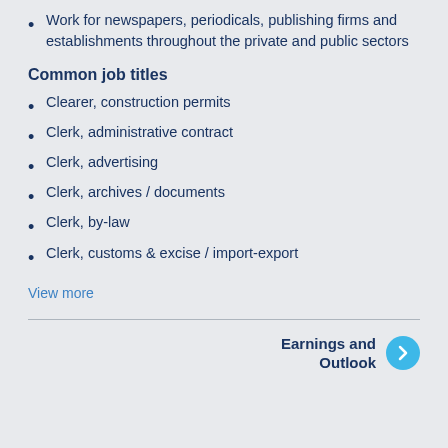Work for newspapers, periodicals, publishing firms and establishments throughout the private and public sectors
Common job titles
Clearer, construction permits
Clerk, administrative contract
Clerk, advertising
Clerk, archives / documents
Clerk, by-law
Clerk, customs & excise / import-export
View more
Earnings and Outlook